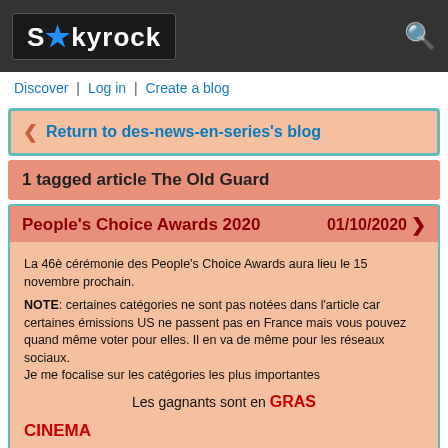[Figure (logo): Skyrock logo with blue star on dark background, search icon on right]
Discover | Log in | Create a blog
◀ Return to des-news-en-series's blog
1 tagged article The Old Guard
People's Choice Awards 2020
01/10/2020
La 46è cérémonie des People's Choice Awards aura lieu le 15 novembre prochain.
NOTE: certaines catégories ne sont pas notées dans l'article car certaines émissions US ne passent pas en France mais vous pouvez quand même voter pour elles. Il en va de même pour les réseaux sociaux.
Je me focalise sur les catégories les plus importantes
Les gagnants sont en GRAS
CINEMA
Film de 2020
Bad Boys for Life
Birds of Prey et la fantabuleuse histoire de Harley Quinn
Tyler Rake
Hamilton
Project Power
Invisible Man
The Old Guard